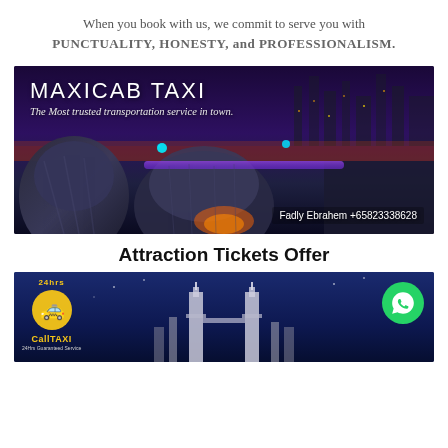When you book with us, we commit to serve you with PUNCTUALITY, HONESTY, and PROFESSIONALISM.
[Figure (photo): Luxury maxicab taxi interior with purple ambient lighting, plush leather seats. Overlay text: MAXICAB TAXI - The Most trusted transportation service in town. Contact: Fadly Ebrahem +65823338628]
Attraction Tickets Offer
[Figure (photo): CallTAXI 24hrs banner with taxi logo on left, Kuala Lumpur Petronas Towers silhouette in background, WhatsApp green button on right]